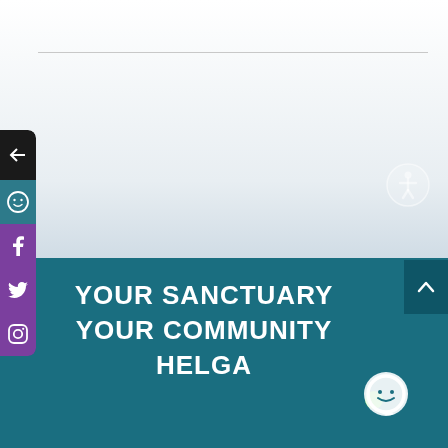[Figure (screenshot): Website screenshot showing a white/gradient top area with a horizontal rule, a left-side vertical navigation sidebar with black, teal, and purple sections containing arrow-back, smiley, Facebook, Twitter, and Instagram icons. An accessibility icon appears in the upper right of the main content area. The lower portion is a teal banner with white bold uppercase text reading 'YOUR SANCTUARY YOUR COMMUNITY HELGA' and a chat/online indicator icon in the bottom right corner. A dark teal scroll-up button is in the upper right of the teal section.]